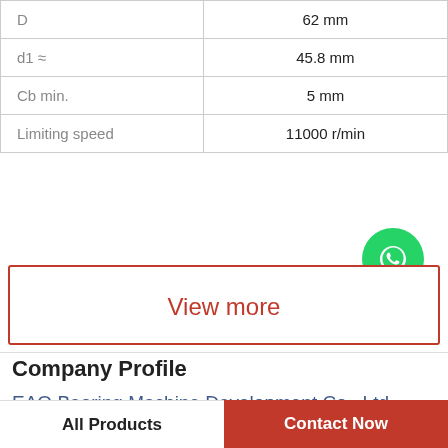| Parameter | Value |
| --- | --- |
| D | 62 mm |
| d1 ≈ | 45.8 mm |
| Cb min. | 5 mm |
| Limiting speed | 11000 r/min |
[Figure (logo): WhatsApp Online green circle icon with phone handset, labeled WhatsApp Online]
View more
Company Profile
EAO Bearing Machine Development Co., Ltd
Phone   63-4-317-4407
All Products   Contact Now